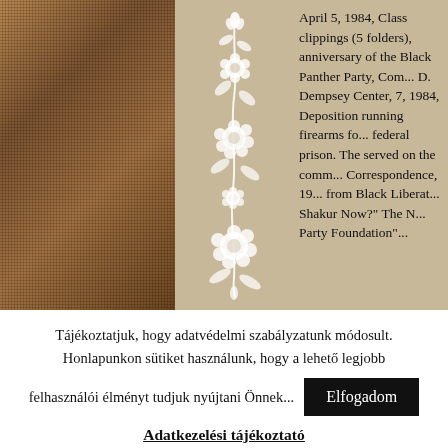[Figure (photo): Woven fabric/burlap texture photograph in warm brown tones]
[Figure (illustration): White floral decorative vine illustration on beige background]
April 5, 1984, Class clippings (5 folders), anniversary of the Black Panther Party, Com... D. Dempsey Center, 7, 1984, Deposition running firearms fo... federal prison. The served on the comm... Correspondence, 19... from Black Liberat... Shakur Now?" The N... Party Foundation"...
Tájékoztatjuk, hogy adatvédelmi szabályzatunk módosult. Honlapunkon sütiket használunk, hogy a lehető legjobb felhasználói élményt tudjuk nyújtani Önnek...
Elfogadom
Adatkezelési tájékoztató